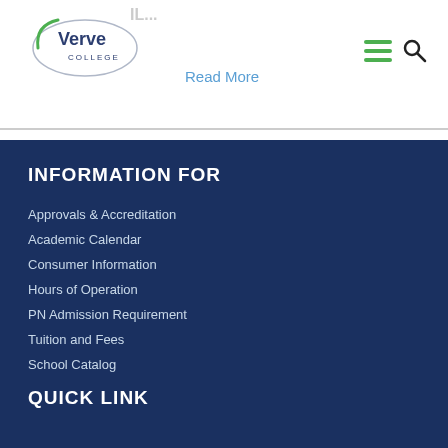[Figure (logo): Verve College logo — oval shape with 'Verve' in large text and 'COLLEGE' below in smaller text, with a green arc on the left side]
Read More
INFORMATION FOR
Approvals & Accreditation
Academic Calendar
Consumer Information
Hours of Operation
PN Admission Requirement
Tuition and Fees
School Catalog
QUICK LINK